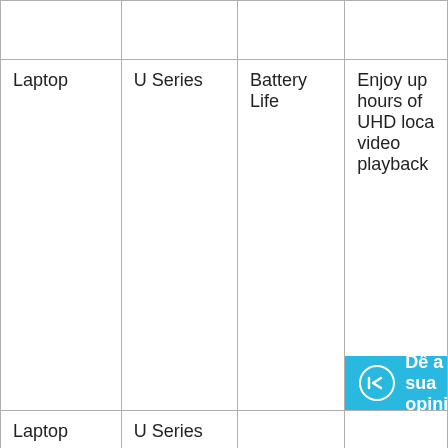|  |  |  |  |
| Laptop | U Series | Battery Life | Enjoy up hours of UHD loca video playback |
| Laptop | U Series |  |  |
Dê a sua opinião